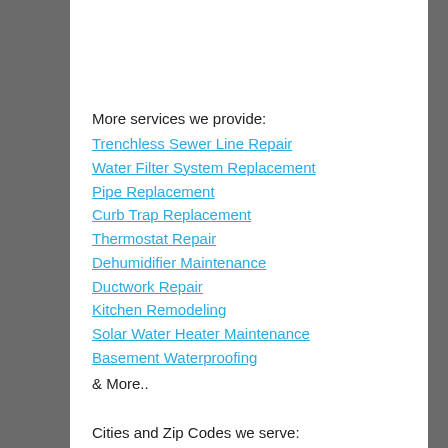More services we provide:
Trenchless Sewer Line Repair
Water Filter System Replacement
Pipe Replacement
Curb Trap Replacement
Thermostat Repair
Dehumidifier Maintenance
Ductwork Repair
Kitchen Remodeling
Solar Water Heater Maintenance
Basement Waterproofing
& More..
Cities and Zip Codes we serve:
El Monte , 91206 , 90042 , 91210 , 90305 , 90609 ,